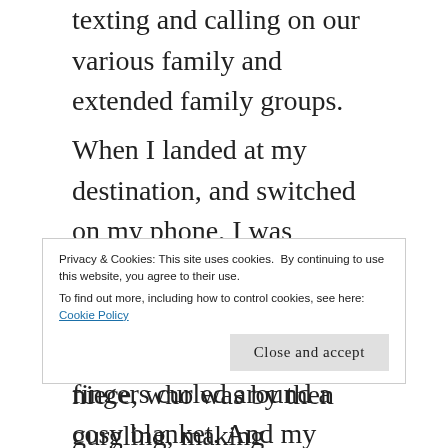texting and calling on our various family and extended family groups.
When I landed at my destination, and switched on my phone, I was greeted by the cutest picture of my tiny niece, her eyes tightly shut, tiny fingers curled around a cosy blanket. And my heart filled with love and tenderness!!!
Privacy & Cookies: This site uses cookies. By continuing to use this website, you agree to their use.
To find out more, including how to control cookies, see here: Cookie Policy
Close and accept
niece, who was by then gurgling, making